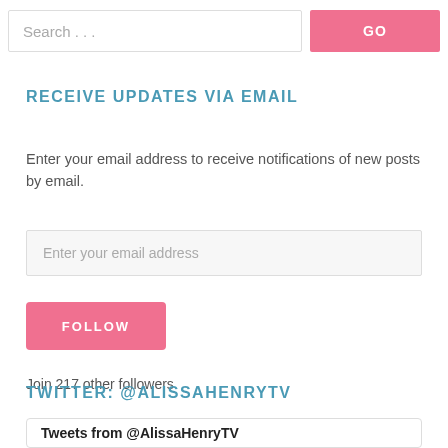Search ...
RECEIVE UPDATES VIA EMAIL
Enter your email address to receive notifications of new posts by email.
Enter your email address
FOLLOW
Join 217 other followers
TWITTER: @ALISSAHENRYTV
Tweets from @AlissaHenryTV